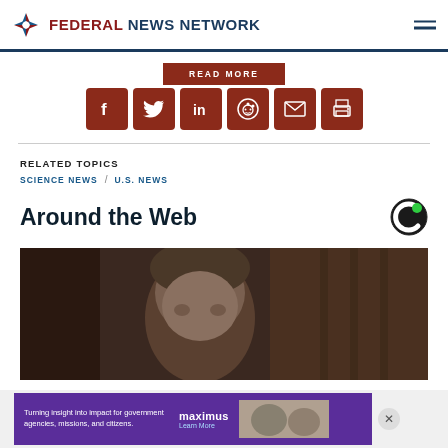FEDERAL NEWS NETWORK
READ MORE
[Figure (infographic): Social sharing icons row: Facebook, Twitter, LinkedIn, Reddit, Email, Print — dark red square buttons]
RELATED TOPICS
SCIENCE NEWS / U.S. NEWS
Around the Web
[Figure (photo): Partial photo of a person's face/head, dark brown tones, editorial portrait style]
[Figure (infographic): Maximus advertisement banner: 'Turning insight into impact for government agencies, missions, and citizens.' with Learn More link and photo of people working]